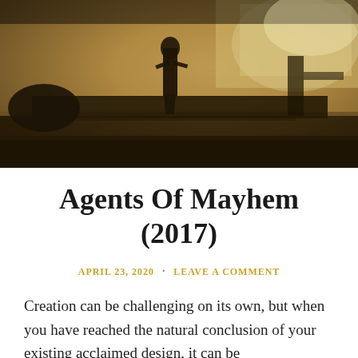[Figure (photo): Sepia-toned screenshot from the video game Agents of Mayhem (2017), showing a figure standing in a futuristic interior environment with sleek surfaces and dramatic lighting.]
Agents Of Mayhem (2017)
APRIL 23, 2020 · LEAVE A COMMENT
Creation can be challenging on its own, but when you have reached the natural conclusion of your existing acclaimed design, it can be